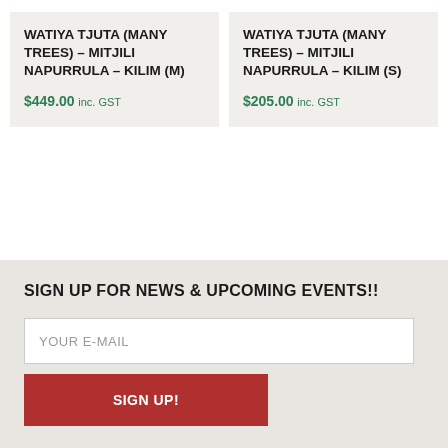WATIYA TJUTA (MANY TREES) – MITJILI NAPURRULA – KILIM (M)
$449.00 inc. GST
WATIYA TJUTA (MANY TREES) – MITJILI NAPURRULA – KILIM (S)
$205.00 inc. GST
SIGN UP FOR NEWS & UPCOMING EVENTS!!
YOUR E-MAIL
SIGN UP!